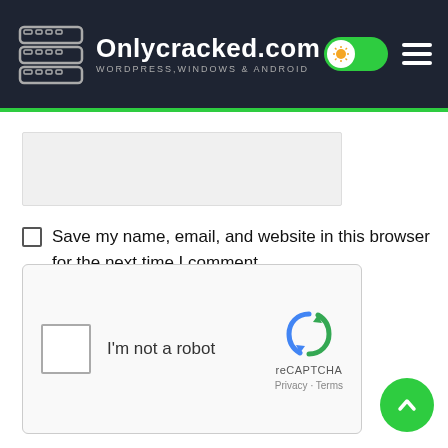[Figure (screenshot): Onlycracked.com website header with logo (server icon + site name), dark background (#1e2432), green toggle switch, and hamburger menu icon. Green accent line below header.]
[Figure (screenshot): A grey text input/textarea field (for website URL or comment)]
Save my name, email, and website in this browser for the next time I comment.
[Figure (screenshot): reCAPTCHA widget with checkbox, 'I'm not a robot' text, reCAPTCHA logo, and Privacy · Terms links]
[Figure (screenshot): 'Post Comment' green button]
FACEBOOK COMMENTS
[Figure (screenshot): Green scroll-to-top circular button with upward chevron arrow]